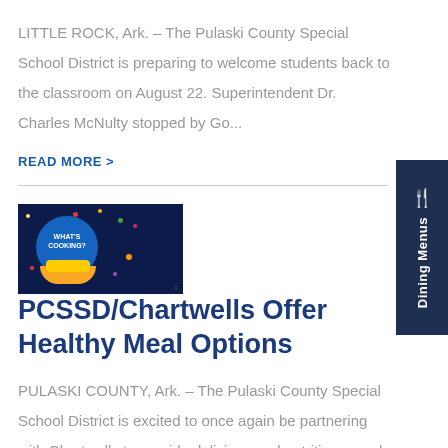LITTLE ROCK, Ark. – The Pulaski County Special School District is preparing to welcome students back to the classroom on August 22. Superintendent Dr. Charles McNulty stopped by Go...
READ MORE >
[Figure (illustration): What's Cooking logo: colorful confetti and a blue circle on dark navy background with 'WHAT'S COOKING?' text]
PCSSD/Chartwells Offer Healthy Meal Options
PULASKI COUNTY, Ark. – The Pulaski County Special School District is excited to once again be partnering with Chartwells to provide delicious and nutritious meals for